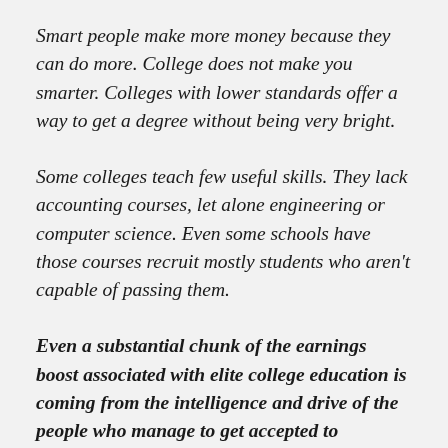Smart people make more money because they can do more. College does not make you smarter. Colleges with lower standards offer a way to get a degree without being very bright.
Some colleges teach few useful skills. They lack accounting courses, let alone engineering or computer science. Even some schools have those courses recruit mostly students who aren't capable of passing them.
Even a substantial chunk of the earnings boost associated with elite college education is coming from the intelligence and drive of the people who manage to get accepted to